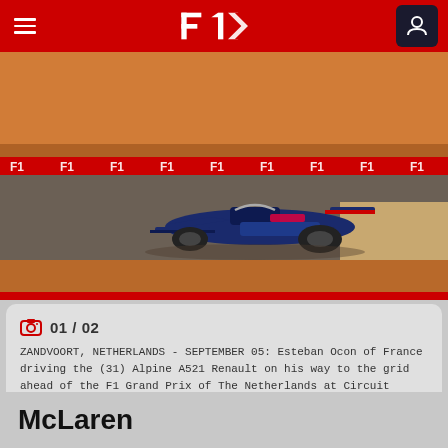F1 navigation bar with hamburger menu, F1 logo, and user icon
[Figure (photo): F1 race car (Alpine A521, number 31, driven by Esteban Ocon) on track at Circuit Zandvoort, Netherlands. Orange-clad crowd visible in background. Red F1 branding barriers along track. Red bottom border stripe.]
01 / 02
ZANDVOORT, NETHERLANDS - SEPTEMBER 05: Esteban Ocon of France driving the (31) Alpine A521 Renault on his way to the grid ahead of the F1 Grand Prix of The Netherlands at Circuit Zandvoort on September 05, 2021 in Zandvoort, Netherlands. (Photo by Joe Portlock - Formula 1/Formula 1 via Getty Images)
McLaren